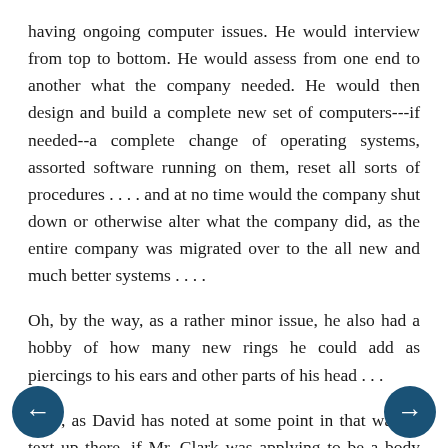having ongoing computer issues. He would interview from top to bottom. He would assess from one end to another what the company needed. He would then design and build a complete new set of computers---if needed--a complete change of operating systems, assorted software running on them, reset all sorts of procedures . . . . and at no time would the company shut down or otherwise alter what the company did, as the entire company was migrated over to the all new and much better systems . . . .
Oh, by the way, as a rather minor issue, he also had a hobby of how many new rings he could add as piercings to his ears and other parts of his head . . .
Now, as David has noted at some point in that wall o' text up there, if Mr. Clark was applying to be a body double for the Prince Of Wales . . . or any other related position . . . well, gee, I couldn't get that one---I'm told the accent wanders in and out, and my ears are more pointed than elephantine and haven't been perforated, but particularly I